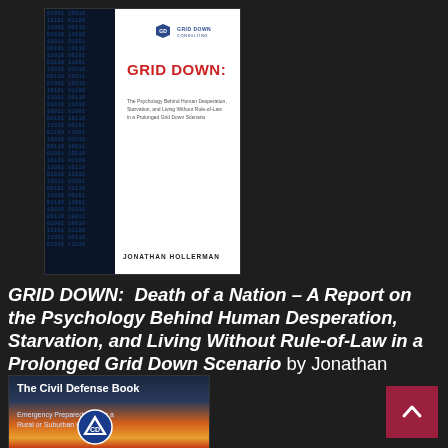[Figure (photo): Book cover of 'GRID DOWN' by Jonathan Hollerman. Dark blue digital/binary code background on left, white content area on right with red title 'GRID DOWN:' and subtitle text about psychology behind human desperation. Grid Down Consulting logo at top. Author name at bottom.]
GRID DOWN:  Death of a Nation – A Report on the Psychology Behind Human Desperation, Starvation, and Living Without Rule-of-Law in a Prolonged Grid Down Scenario by Jonathan Hollerman
[Figure (photo): Book cover of 'The Civil Defense Book: Emergency Preparedness for a Rural or Suburban Community'. Dark blue top, sunset/fire sky landscape in middle and bottom, Civil Defense triangle emblem at bottom center.]